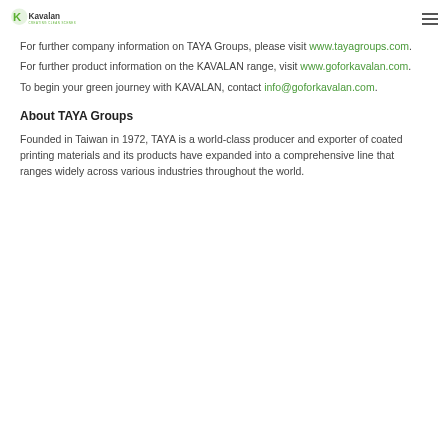Kavalan - Creating Clean Scenes
For further company information on TAYA Groups, please visit www.tayagroups.com.
For further product information on the KAVALAN range, visit www.goforkavalan.com.
To begin your green journey with KAVALAN, contact info@goforkavalan.com.
About TAYA Groups
Founded in Taiwan in 1972, TAYA is a world-class producer and exporter of coated printing materials and its products have expanded into a comprehensive line that ranges widely across various industries throughout the world.